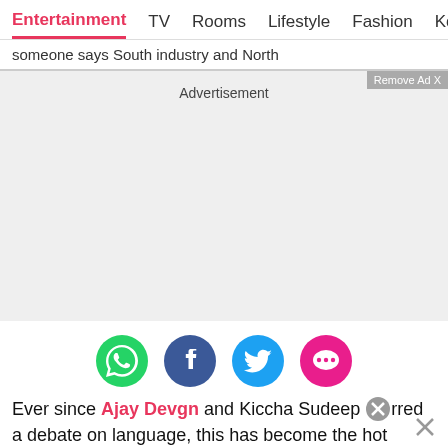Entertainment  TV  Rooms  Lifestyle  Fashion  Ko
someone says South industry and North
[Figure (screenshot): Grey advertisement placeholder area with 'Advertisement' label and 'Remove Ad X' button in top right corner]
[Figure (infographic): Row of four social media sharing icons: WhatsApp (green), Facebook (blue), Twitter (light blue), and a pink messaging/more icon]
Ever since Ajay Devgn and Kiccha Sudeep s[blocked]rred a debate on language, this has become the hot